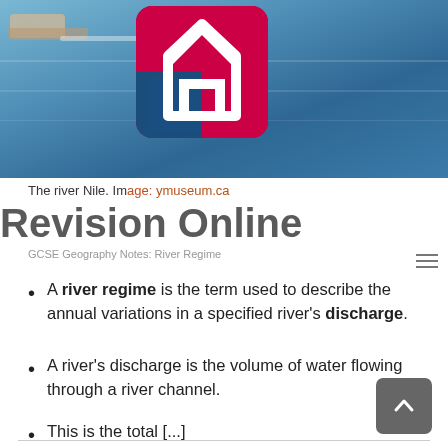[Figure (photo): Photo of the river Nile with a boat and a Revision Online logo overlay]
The river Nile. Image: ymuseum.ca
Revision Online
GCSE Geography Notes: River Regime
A river regime is the term used to describe the annual variations in a specified river's discharge.
A river's discharge is the volume of water flowing through a river channel.
This is the total [...]